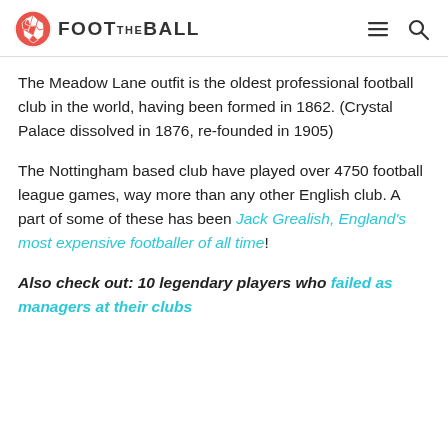FOOT THE BALL
The Meadow Lane outfit is the oldest professional football club in the world, having been formed in 1862. (Crystal Palace dissolved in 1876, re-founded in 1905)
The Nottingham based club have played over 4750 football league games, way more than any other English club. A part of some of these has been Jack Grealish, England's most expensive footballer of all time!
Also check out: 10 legendary players who failed as managers at their clubs